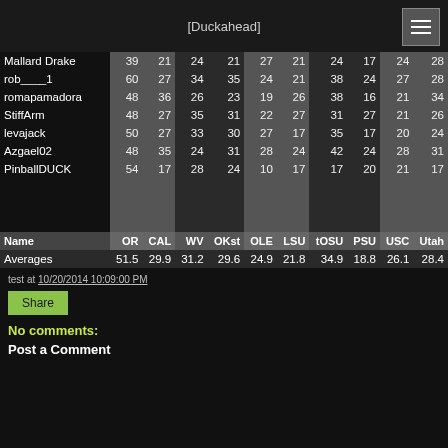Duckahead
| Name | OR | CAL | WV | OKst | OLE | LSU | tOSU | PSU | USC | Utah |
| --- | --- | --- | --- | --- | --- | --- | --- | --- | --- | --- |
| Mallard Drake | 39 | 21 | 24 | 21 | 27 | 21 | 24 | 17 | 24 | 28 |
| rob____1 | 60 | 27 | 34 | 35 | 24 | 21 | 38 | 24 | 27 | 28 |
| romapamadora | 48 | 36 | 26 | 23 | 19 | 26 | 38 | 16 | 21 | 34 |
| StiffArm | 48 | 27 | 35 | 31 | 22 | 27 | 31 | 27 | 21 | 26 |
| levajack | 50 | 27 | 33 | 30 | 27 | 17 | 35 | 17 | 20 | 24 |
| Azgael02 | 48 | 35 | 24 | 31 | 28 | 24 | 42 | 24 | 28 | 31 |
| PinballDUCK | 54 | 17 | 28 | 24 | 10 | 17 | 17 | 20 | 21 | 17 |
| Averages | 51.5 | 29.9 | 31.2 | 29.6 | 24.9 | 21.8 | 34.9 | 18.8 | 26.1 | 28.4 |
test at 10/20/2014 10:09:00 PM
Share
No comments:
Post a Comment